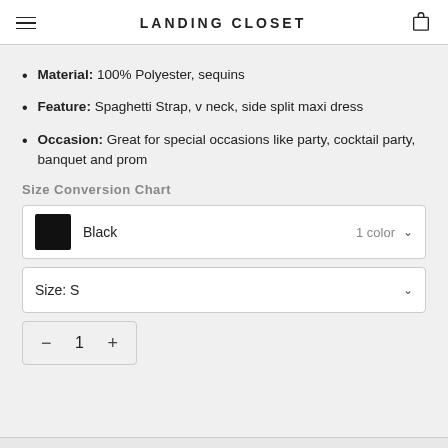LANDING CLOSET
Material: 100% Polyester, sequins
Feature: Spaghetti Strap, v neck, side split maxi dress
Occasion: Great for special occasions like party, cocktail party, banquet and prom
Size Conversion Chart
Black  1 color
Size: S
− 1 +